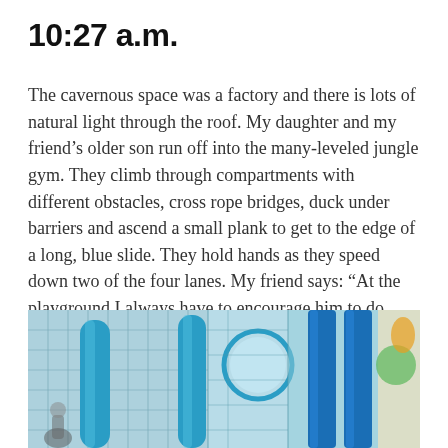10:27 a.m.
The cavernous space was a factory and there is lots of natural light through the roof. My daughter and my friend’s older son run off into the many-leveled jungle gym. They climb through compartments with different obstacles, cross rope bridges, duck under barriers and ascend a small plank to get to the edge of a long, blue slide. They hold hands as they speed down two of the four lanes. My friend says: “At the playground I always have to encourage him to do things. It’s good to have them together.” They repeat several times.
[Figure (photo): Indoor playground with blue tubes, slides, netting, and colorful equipment.]